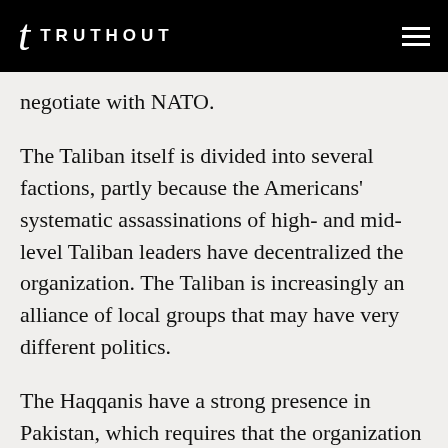TRUTHOUT
negotiate with NATO.
The Taliban itself is divided into several factions, partly because the Americans' systematic assassinations of high- and mid-level Taliban leaders have decentralized the organization. The Taliban is increasingly an alliance of local groups that may have very different politics.
The Haqqanis have a strong presence in Pakistan, which requires that the organization maintains solid relations with Pakistan's...